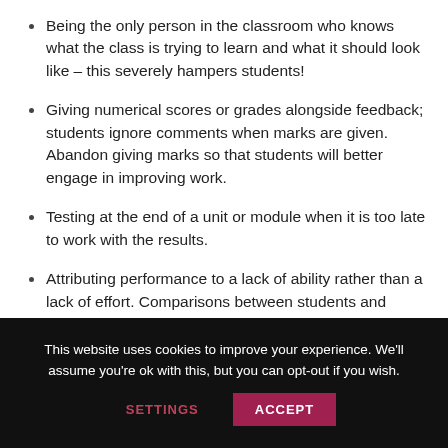Being the only person in the classroom who knows what the class is trying to learn and what it should look like – this severely hampers students!
Giving numerical scores or grades alongside feedback; students ignore comments when marks are given. Abandon giving marks so that students will better engage in improving work.
Testing at the end of a unit or module when it is too late to work with the results.
Attributing performance to a lack of ability rather than a lack of effort. Comparisons between students and
This website uses cookies to improve your experience. We'll assume you're ok with this, but you can opt-out if you wish. SETTINGS ACCEPT